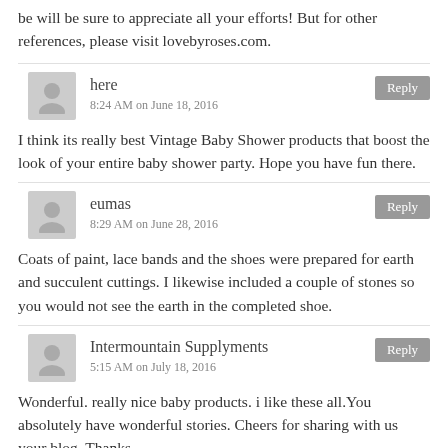be will be sure to appreciate all your efforts! But for other references, please visit lovebyroses.com.
here
8:24 AM on June 18, 2016
I think its really best Vintage Baby Shower products that boost the look of your entire baby shower party. Hope you have fun there.
eumas
8:29 AM on June 28, 2016
Coats of paint, lace bands and the shoes were prepared for earth and succulent cuttings. I likewise included a couple of stones so you would not see the earth in the completed shoe.
Intermountain Supplyments
5:15 AM on July 18, 2016
Wonderful. really nice baby products. i like these all.You absolutely have wonderful stories. Cheers for sharing with us your blog. Thanks...